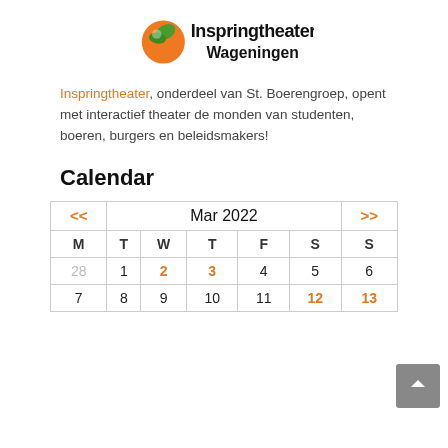[Figure (logo): Inspringtheater Wageningen logo with orange and green circular graphic on the left and bold black text 'Inspringtheater' above 'Wageningen']
Inspringtheater, onderdeel van St. Boerengroep, opent met interactief theater de monden van studenten, boeren, burgers en beleidsmakers!
Calendar
| << | Mar 2022 | >> | M | T | W | T | F | S | S |
| --- | --- | --- | --- | --- | --- | --- | --- | --- | --- |
| 28 | 1 | 2 | 3 | 4 | 5 | 6 |
| 7 | 8 | 9 | 10 | 11 | 12 | 13 |